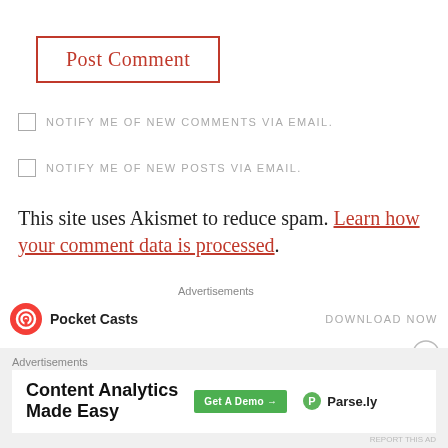[Figure (screenshot): Post Comment button with red border]
NOTIFY ME OF NEW COMMENTS VIA EMAIL.
NOTIFY ME OF NEW POSTS VIA EMAIL.
This site uses Akismet to reduce spam. Learn how your comment data is processed.
Advertisements
[Figure (logo): Pocket Casts logo with icon and DOWNLOAD NOW text]
Advertisements
[Figure (screenshot): Advertisement banner: Content Analytics Made Easy, Get A Demo button, Parse.ly logo]